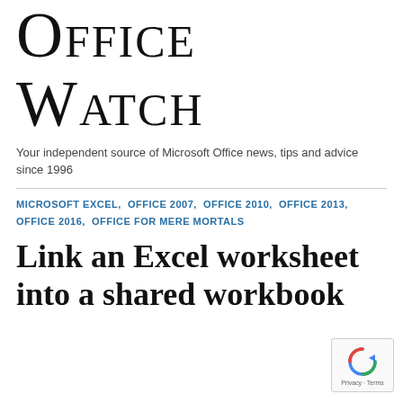Office Watch
Your independent source of Microsoft Office news, tips and advice since 1996
MICROSOFT EXCEL, OFFICE 2007, OFFICE 2010, OFFICE 2013, OFFICE 2016, OFFICE FOR MERE MORTALS
Link an Excel worksheet into a shared workbook
[Figure (logo): reCAPTCHA badge with circular arrow logo and Privacy · Terms text]